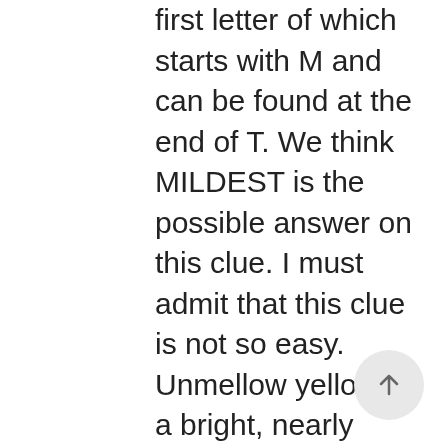first letter of which starts with M and can be found at the end of T. We think MILDEST is the possible answer on this clue. I must admit that this clue is not so easy. Unmellow yellow is a bright, nearly florescent yellow shade created by the Crayola crayon company. While some crosswords are much simpler than others, most require that players have a vast knowledge of the language and possibly even various topics. See the possibilities below. 4 letter answer(s) to mellow. Solving Crossword Dictionary; App; PUZ to PDF; Solver; Jonesin' Constructing Wikipedia search; Algebraic Crosswords; CrossQuip; PUZ to NYT; Clue Deduper; Double Occupancy; Roman Clues; Store; Potential answers for "Made mellow" TAMED: LAIDBACK: RIPE: AGE: ... 'MELLOW' is a 6 letter word